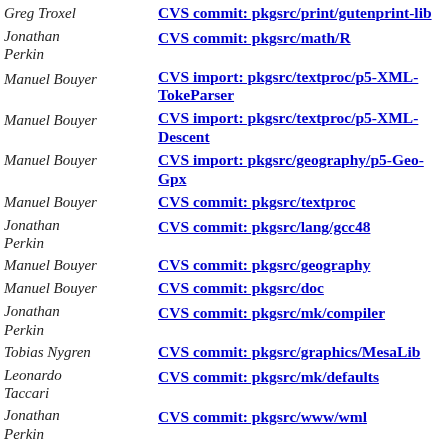Greg Troxel | CVS commit: pkgsrc/print/gutenprint-lib
Jonathan Perkin | CVS commit: pkgsrc/math/R
Manuel Bouyer | CVS import: pkgsrc/textproc/p5-XML-TokeParser
Manuel Bouyer | CVS import: pkgsrc/textproc/p5-XML-Descent
Manuel Bouyer | CVS import: pkgsrc/geography/p5-Geo-Gpx
Manuel Bouyer | CVS commit: pkgsrc/textproc
Jonathan Perkin | CVS commit: pkgsrc/lang/gcc48
Manuel Bouyer | CVS commit: pkgsrc/geography
Manuel Bouyer | CVS commit: pkgsrc/doc
Jonathan Perkin | CVS commit: pkgsrc/mk/compiler
Tobias Nygren | CVS commit: pkgsrc/graphics/MesaLib
Leonardo Taccari | CVS commit: pkgsrc/mk/defaults
Jonathan Perkin | CVS commit: pkgsrc/www/wml
Tobias Nygren | CVS commit: pkgsrc/graphics/MesaLib
Tobias Nygren | CVS commit: pkgsrc/graphics/MesaDemos